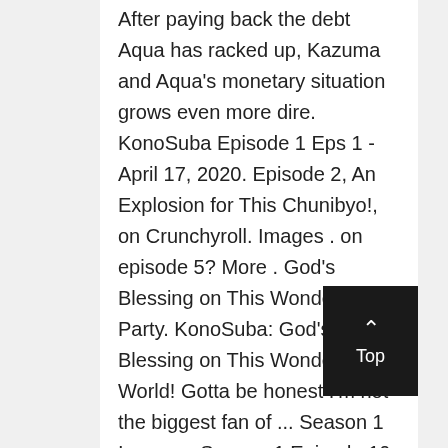After paying back the debt Aqua has racked up, Kazuma and Aqua's monetary situation grows even more dire. KonoSuba Episode 1 Eps 1 - April 17, 2020. Episode 2, An Explosion for This Chunibyo!, on Crunchyroll. Images . on episode 5? More . God's Blessing on This Wonderful Party. KonoSuba: God's Blessing on This Wonderful World! Gotta be honest I'm not the biggest fan of ... Season 1 Images . Season 1 Episode 10 - fanaru . ... Episode 8. I would be surprised if Konosuba season 3 didn't get announced in 2021 or 2022, considering the popularity and how much money it's making for the production committee and Kadokawa. $23.90. Social Media : Twitter: https://twitter.com/ItsKimchiTofu Twitch: